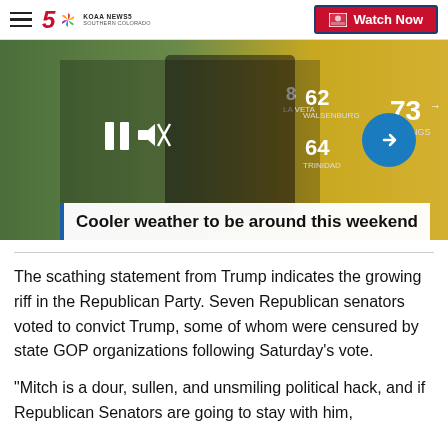KOAA NEWS5 SOUTHERN COLORADO | Watch Now
[Figure (screenshot): Weather broadcast video thumbnail showing a meteorologist in front of a weather map with temperature readings: 62 (Walsenburg), 8 (La Veta), 64 (Trinidad), 73 (Springs). Video player controls (pause, mute) visible. Blue arrow circle on right side.]
Cooler weather to be around this weekend
The scathing statement from Trump indicates the growing riff in the Republican Party. Seven Republican senators voted to convict Trump, some of whom were censured by state GOP organizations following Saturday's vote.
"Mitch is a dour, sullen, and unsmiling political hack, and if Republican Senators are going to stay with him,